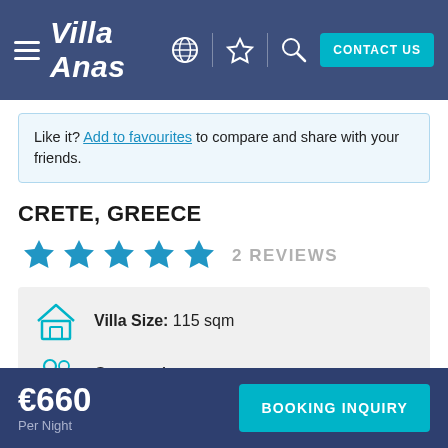Villa Anas — CONTACT US
Like it? Add to favourites to compare and share with your friends.
CRETE, GREECE
★★★★★ 2 REVIEWS
Villa Size: 115 sqm
Guests: 4
€660 Per Night — BOOKING INQUIRY